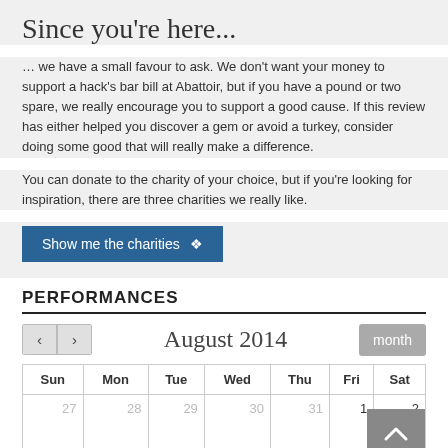Since you're here...
… we have a small favour to ask. We don't want your money to support a hack's bar bill at Abattoir, but if you have a pound or two spare, we really encourage you to support a good cause. If this review has either helped you discover a gem or avoid a turkey, consider doing some good that will really make a difference.
You can donate to the charity of your choice, but if you're looking for inspiration, there are three charities we really like.
Show me the charities ▾
PERFORMANCES
August 2014
| Sun | Mon | Tue | Wed | Thu | Fri | Sat |
| --- | --- | --- | --- | --- | --- | --- |
| 27 | 28 | 29 | 30 | 31 | 1 | 2 |